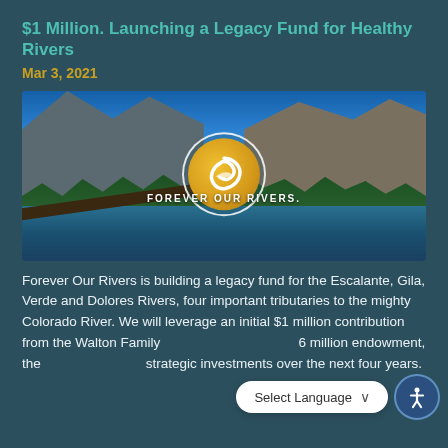$1 Million. Launching a Legacy Fund for Healthy Rivers
Mar 3, 2021
[Figure (photo): Scenic mountain river landscape with blue sky and forested valley. Center features the 'Forever Our Rivers' circular logo with a golden wave emblem on a teal background, with text 'FOREVER OUR RIVERS' below the logo.]
Forever Our Rivers is building a legacy fund for the Escalante, Gila, Verde and Dolores Rivers, four important tributaries to the mighty Colorado River. We will leverage an initial $1 million contribution from the Walton Family [Foundation to raise a $]6 million endowment, the [fund will support] strategic investments over the next four years.